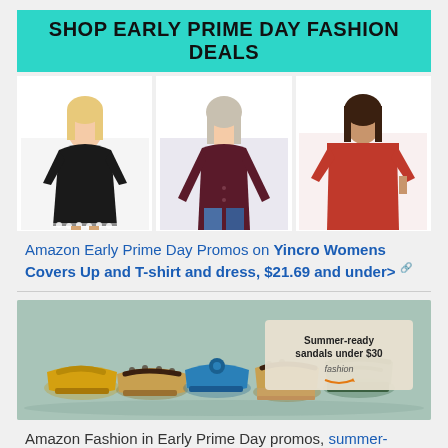SHOP EARLY PRIME DAY FASHION DEALS
[Figure (photo): Three women's fashion items: black top/dress with pom-pom trim, dark burgundy long-sleeve top, and red off-shoulder dress/top]
Amazon Early Prime Day Promos on Yincro Womens Covers Up and T-shirt and dress, $21.69 and under>
[Figure (photo): Banner showing colorful summer sandals on mint green background with text: Summer-ready sandals under $30 fashion (Amazon logo)]
Amazon Fashion in Early Prime Day promos, summer-